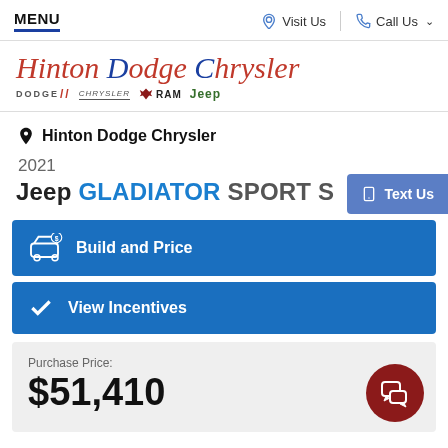MENU | Visit Us | Call Us
[Figure (logo): Hinton Dodge Chrysler dealership logo with Dodge, Chrysler, RAM, and Jeep sub-brand logos]
Hinton Dodge Chrysler
2021
Jeep GLADIATOR SPORT S
Build and Price
View Incentives
Purchase Price:
$51,410